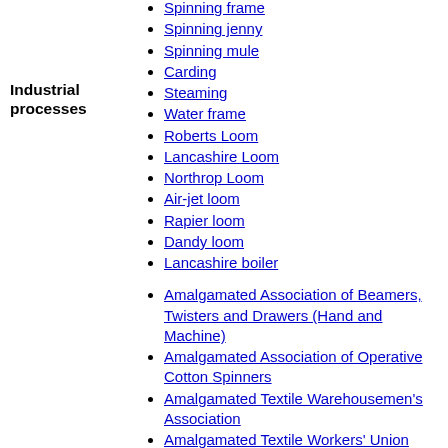Industrial processes
Spinning frame
Spinning jenny
Spinning mule
Carding
Steaming
Water frame
Roberts Loom
Lancashire Loom
Northrop Loom
Air-jet loom
Rapier loom
Dandy loom
Lancashire boiler
Amalgamated Association of Beamers, Twisters and Drawers (Hand and Machine)
Amalgamated Association of Operative Cotton Spinners
Amalgamated Textile Warehousemen's Association
Amalgamated Textile Workers' Union
Amalgamated Weavers' Association
Cardroom Amalgamation